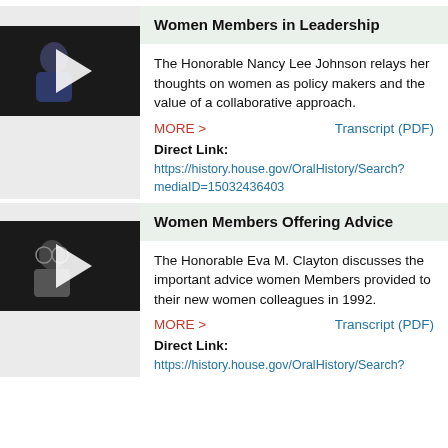Women Members in Leadership
[Figure (photo): Video thumbnail of Nancy Lee Johnson in blue jacket with play button overlay on dark background]
The Honorable Nancy Lee Johnson relays her thoughts on women as policy makers and the value of a collaborative approach.
MORE >   Transcript (PDF)
Direct Link:
https://history.house.gov/OralHistory/Search?mediaID=15032436403
Women Members Offering Advice
[Figure (photo): Video thumbnail of Eva M. Clayton with play button overlay on dark background]
The Honorable Eva M. Clayton discusses the important advice women Members provided to their new women colleagues in 1992.
MORE >   Transcript (PDF)
Direct Link:
https://history.house.gov/OralHistory/Search?